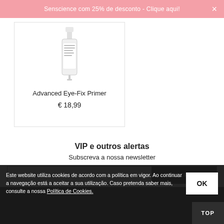Senscience com 25% de desconto - Clique aqui!
[Figure (photo): Product image of Advanced Eye-Fix Primer bottle]
Advanced Eye-Fix Primer
€ 18,99
VIP e outros alertas
Subscreva a nossa newsletter
Insira o seu email
SUBSCREVER
Este website utiliza cookies de acordo com a política em vigor. Ao continuar a navegação está a aceitar a sua utilização. Caso pretenda saber mais, consulte a nossa Política de Cookies.
OK
TOP